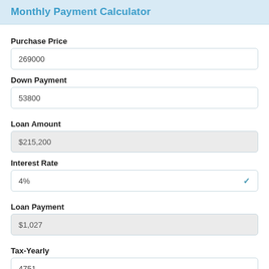Monthly Payment Calculator
Purchase Price
269000
Down Payment
53800
Loan Amount
$215,200
Interest Rate
4%
Loan Payment
$1,027
Tax-Yearly
4751
Tax-Monthly
$396